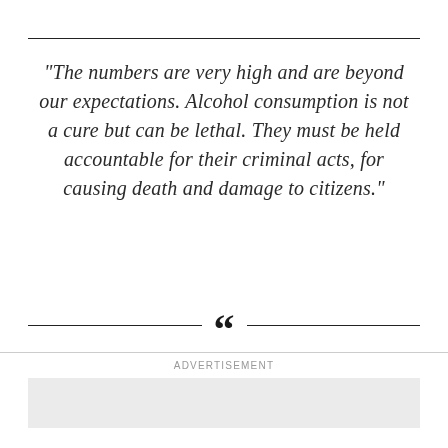“The numbers are very high and are beyond our expectations. Alcohol consumption is not a cure but can be lethal. They must be held accountable for their criminal acts, for causing death and damage to citizens.”
[Figure (illustration): Decorative divider with two horizontal rules flanking a large open double quotation mark symbol]
ADVERTISEMENT
[Figure (other): Gray advertisement placeholder box]